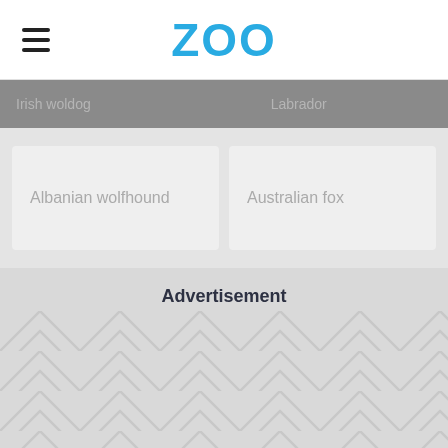ZOO
Albanian wolfhound
Australian fox
Advertisement